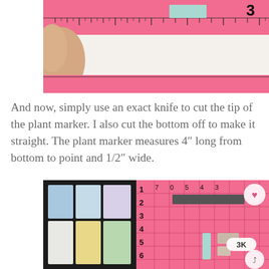[Figure (photo): Top photo showing a hand holding a pink ruler on a white surface, with a light blue/mint rectangle piece visible on the ruler near number 3]
And now, simply use an exact knife to cut the tip of the plant marker. I also cut the bottom off to make it straight. The plant marker measures 4″ long from bottom to point and 1/2″ wide.
[Figure (photo): Bottom photo showing a black box of chalk pieces in pastel colors (blue, white, yellow) on left, and a pink grid/cutting mat with numbers 1-6 on the side, small plant markers and eraser pieces on the pink surface. Heart icon and 3K badge and share icon visible.]